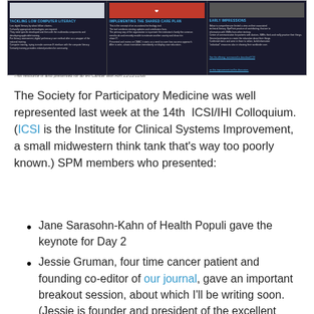[Figure (screenshot): A dark-background poster or slide deck showing three panels: 'Tackling Low Computer Literacy', 'Implementing the Shared Care Plan' (with a red medical image), and 'Early Impressions', each with bullet-point text in light colors on a dark background.]
The Society for Participatory Medicine was well represented last week at the 14th ICSI/IHI Colloquium. (ICSI is the Institute for Clinical Systems Improvement, a small midwestern think tank that's way too poorly known.) SPM members who presented:
Jane Sarasohn-Kahn of Health Populi gave the keynote for Day 2
Jessie Gruman, four time cancer patient and founding co-editor of our journal, gave an important breakout session, about which I'll be writing soon. (Jessie is founder and president of the excellent Center For Advancing Health.)
Brian Abier presented on the status of health IT